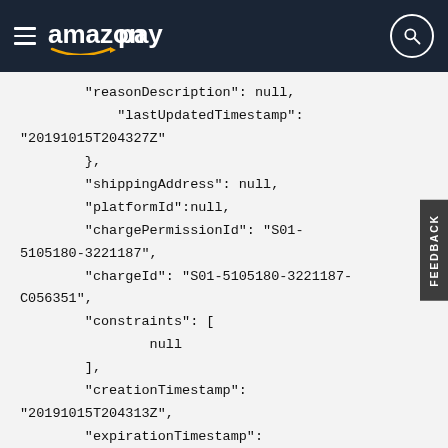Amazon Pay
"reasonDescription": null,
            "lastUpdatedTimestamp":
"20191015T204327Z"
        },
        "shippingAddress": null,
        "platformId":null,
        "chargePermissionId": "S01-5105180-3221187",
        "chargeId": "S01-5105180-3221187-C056351",
        "constraints": [
                null
        ],
        "creationTimestamp":
"20191015T204313Z",
        "expirationTimestamp":
"20191016T204313Z",